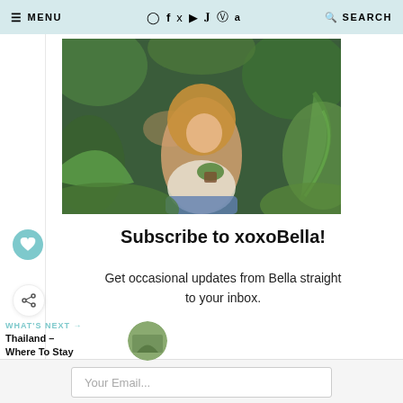≡ MENU  ⊙ f 𝕏 ▶ ♪ ℗ a  🔍 SEARCH
[Figure (photo): Woman with long wavy hair sitting among lush green tropical plants, holding a small potted plant, wearing a white tank top and ripped jeans]
Subscribe to xoxoBella!
Get occasional updates from Bella straight to your inbox.
WHAT'S NEXT →
Thailand – Where To Stay
Your Email...